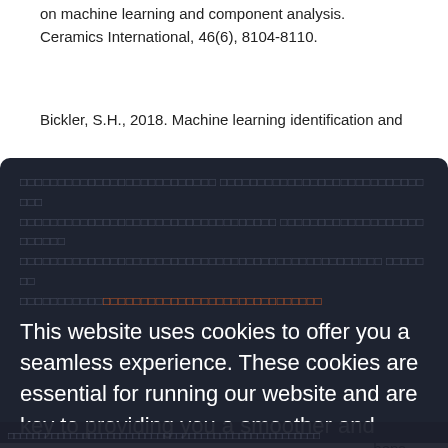on machine learning and component analysis. Ceramics International, 46(6), 8104-8110.
Bickler, S.H., 2018. Machine learning identification and
[Figure (screenshot): Cookie consent modal overlay on a dark semi-transparent background. Contains garbled/encoded text blocks in dark gray and orange, followed by cookie policy notice: 'This website uses cookies to offer you a seamless experience. These cookies are essential for running our website and are key to providing you a smoother and more personalized experience. By using our website, you acknowledge that you have read and understand our cookie policy. Privacy policy'. An Accept button in cyan/teal is shown at the bottom. Partially visible reference list text visible behind the modal on the right side including fragments: 'and', 's', 'hens,', '2020.', 'urning', 'site.', '8.', 'on'. Bottom strip shows garbled encoded text.]
ancient ceramic identification by arti